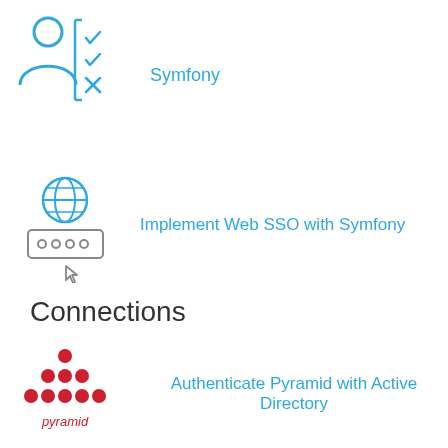[Figure (illustration): Blue icon of a person with a checklist showing checkmarks and an X]
Symfony
[Figure (illustration): Blue globe icon above a browser address bar with dots and a cursor arrow]
Implement Web SSO with Symfony
Connections
[Figure (logo): Pyramid Analytics logo - red dots arranged in triangle with 'pyramid' text below]
Authenticate Pyramid with Active Directory